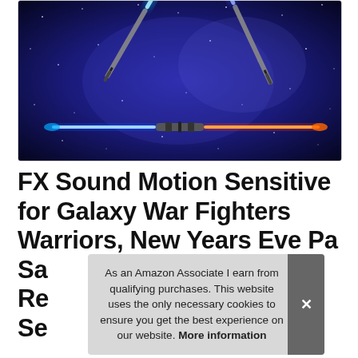[Figure (photo): Lightsabers (one blue+red dual-blade, two single-blade crossed) against a dark starry galaxy background]
FX Sound Motion Sensitive for Galaxy War Fighters Warriors, New Years Eve Pa... Sa... Re... Se...
As an Amazon Associate I earn from qualifying purchases. This website uses the only necessary cookies to ensure you get the best experience on our website. More information